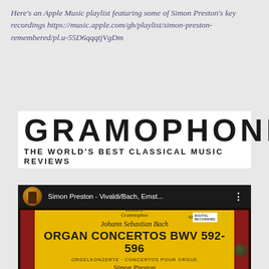Here's an Apple Music playlist featuring some of Simon Preston's key recordings https://music.apple.com/gb/playlist/simon-preston-remembered/pl.u-55D6qqqtjVgDm
[Figure (logo): Gramophone magazine logo — large bold letters 'GRAMOPHONE' with subtitle 'THE WORLD'S BEST CLASSICAL MUSIC REVIEWS' on white background]
[Figure (screenshot): YouTube/video embed showing Simon Preston - Vivaldi/Bach, Ernst... with Deutsche Grammophon album cover for Bach Organ Concertos BWV 592-596, performed by Simon Preston]